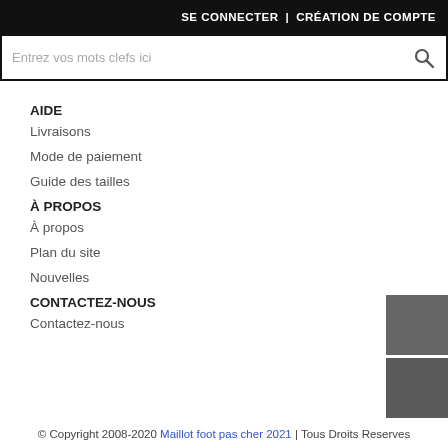SE CONNECTER | CRÉATION DE COMPTE
Entrez vos mots clefs ici
AIDE
Livraisons
Mode de paiement
Guide des tailles
À PROPOS
À propos
Plan du site
Nouvelles
CONTACTEZ-NOUS
Contactez-nous
© Copyright 2008-2020 Maillot foot pas cher 2021 | Tous Droits Reserves